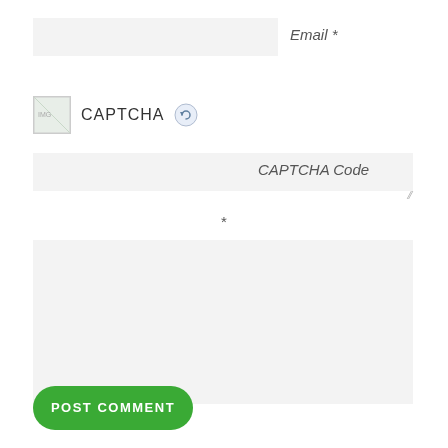[Figure (screenshot): Email input field — a light grey rectangular input box]
Email *
[Figure (screenshot): CAPTCHA image placeholder with refresh icon]
CAPTCHA Code
*
[Figure (screenshot): Large textarea input box for comment]
POST COMMENT